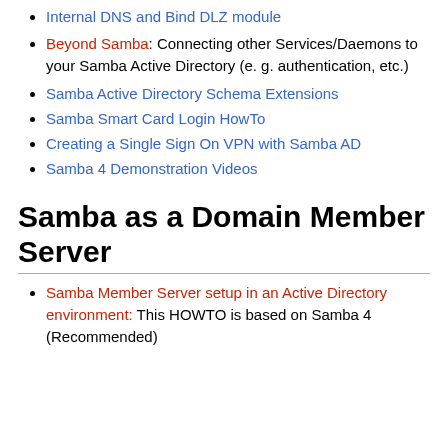Internal DNS and Bind DLZ module
Beyond Samba: Connecting other Services/Daemons to your Samba Active Directory (e. g. authentication, etc.)
Samba Active Directory Schema Extensions
Samba Smart Card Login HowTo
Creating a Single Sign On VPN with Samba AD
Samba 4 Demonstration Videos
Samba as a Domain Member Server
Samba Member Server setup in an Active Directory environment: This HOWTO is based on Samba 4 (Recommended)